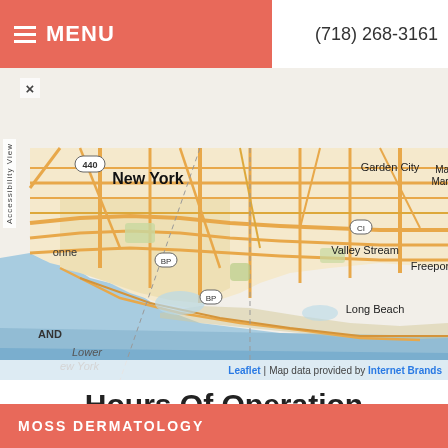MENU  (718) 268-3161
[Figure (map): Interactive street map showing New York City area including Queens, Brooklyn, Long Island with labels: New York, Garden City, Valley Stream, Freeport, Long Beach, Lower New York, BP markers, 440 highway marker, GCP, CI labels. Map shows road network in orange/tan on light background with water in blue.]
Hours Of Operation
Our Regular Schedule
MOSS DERMATOLOGY